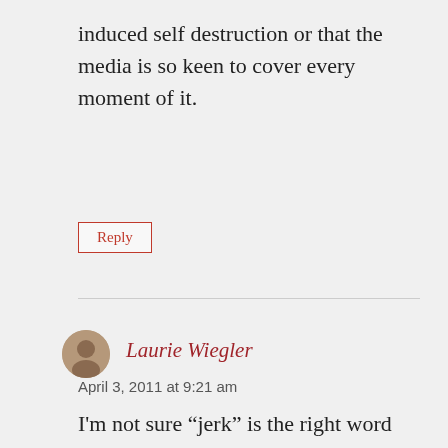induced self destruction or that the media is so keen to cover every moment of it.
Reply
Laurie Wiegler
April 3, 2011 at 9:21 am
I'm not sure “jerk” is the right word for an addict. I'm pretty slow to recommend people go to rehab or a 12-step group, but clearly Charlie is driven by forces